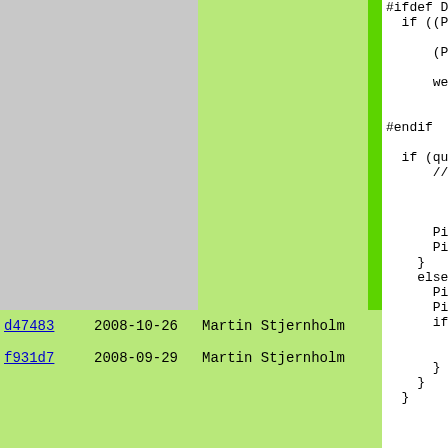[Figure (screenshot): Source code blame/annotate view showing commit hash, date, author columns alongside code. Two rows: d47483 (2008-10-26, Martin Stjernholm) and f931d7 (2008-09-29, Martin Stjernholm). Code on right shows C/Pike code fragment with #ifdef DEBUG, if block, #endif, and nested if/else blocks.]